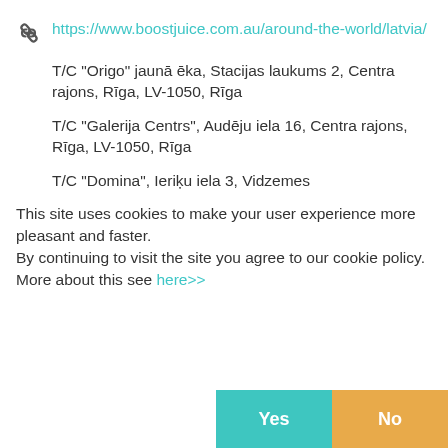https://www.boostjuice.com.au/around-the-world/latvia/
T/C "Origo" jaunā ēka, Stacijas laukums 2, Centra rajons, Rīga, LV-1050, Rīga
T/C "Galerija Centrs", Audēju iela 16, Centra rajons, Rīga, LV-1050, Rīga
T/C "Domina", Ieriķu iela 3, Vidzemes
This site uses cookies to make your user experience more pleasant and faster.
By continuing to visit the site you agree to our cookie policy. More about this see here>>